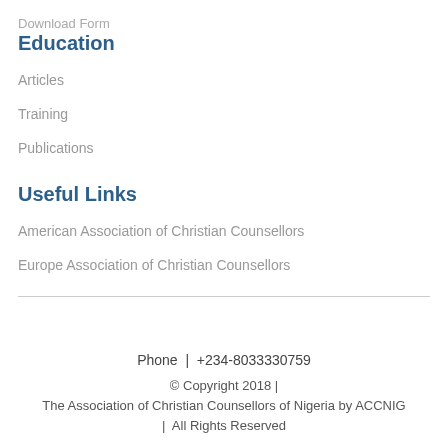Download Form
Education
Articles
Training
Publications
Useful Links
American Association of Christian Counsellors
Europe Association of Christian Counsellors
Phone  |  +234-8033330759
© Copyright 2018 |
The Association of Christian Counsellors of Nigeria by ACCNIG
|  All Rights Reserved